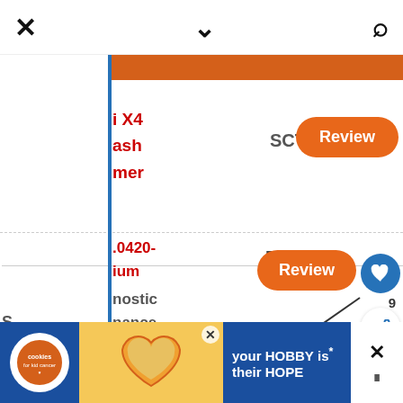[Figure (screenshot): Mobile web UI screenshot showing a list of vehicle tuner products with 'Review' buttons, SCT and Bully Dog brands visible, orange header bar, blue vertical line divider, navigation icons (X, chevron, search), heart/share social buttons, and an advertisement banner at the bottom for cookies for kid cancer charity.]